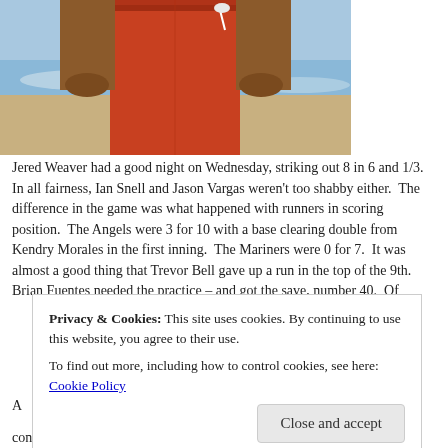[Figure (photo): Person wearing red board shorts standing at a beach, upper body and waist visible, ocean waves in background]
Jered Weaver had a good night on Wednesday, striking out 8 in 6 and 1/3.  In all fairness, Ian Snell and Jason Vargas weren't too shabby either.  The difference in the game was what happened with runners in scoring position.  The Angels were 3 for 10 with a base clearing double from Kendry Morales in the first inning.  The Mariners were 0 for 7.  It was almost a good thing that Trevor Bell gave up a run in the top of the 9th.  Brian Fuentes needed the practice – and got the save, number 40.  Of
A
consumed I am with my Angels and baseball.  Consider how everyday
Privacy & Cookies: This site uses cookies. By continuing to use this website, you agree to their use.
To find out more, including how to control cookies, see here: Cookie Policy
Close and accept